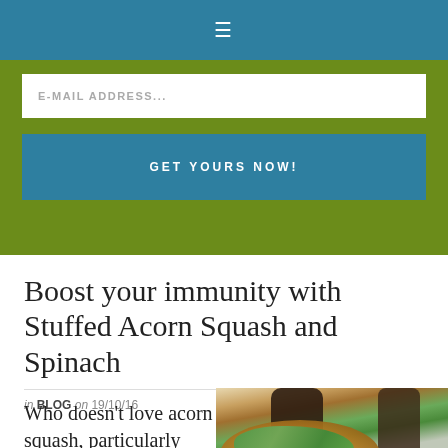≡
E-MAIL ADDRESS...
GET YOURS NOW!
Boost your immunity with Stuffed Acorn Squash and Spinach
in BLOG on 19/10/16
Who doesn't love acorn squash, particularly when it's chock full of
[Figure (photo): Food photo showing stuffed acorn squash with spinach on a wooden surface, with dark cylindrical containers (pepper mills) in the background]